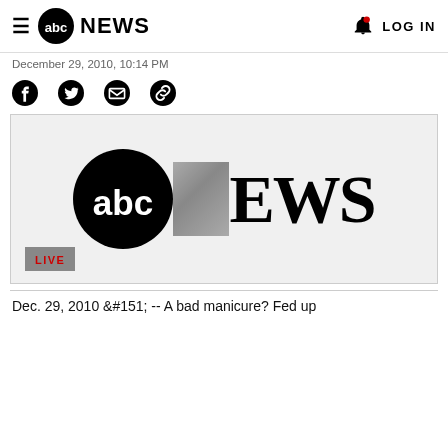abc NEWS   LOG IN
December 29, 2010, 10:14 PM
[Figure (other): Social sharing icons: Facebook, Twitter, Email, Link]
[Figure (screenshot): ABC News video thumbnail showing abc NEWS logo with LIVE badge]
Dec. 29, 2010 &#151; -- A bad manicure? Fed up